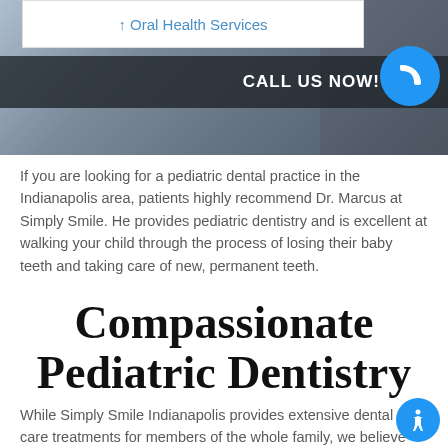[Figure (screenshot): Website banner with plaid-dressed person in background, a white box with 'Oral Health Services' link, a dark bar with 'CALL US NOW!' text, and a blue phone icon button]
If you are looking for a pediatric dental practice in the Indianapolis area, patients highly recommend Dr. Marcus at Simply Smile. He provides pediatric dentistry and is excellent at walking your child through the process of losing their baby teeth and taking care of new, permanent teeth.
Compassionate Pediatric Dentistry
While Simply Smile Indianapolis provides extensive dental care treatments for members of the whole family, we believe it is extremely